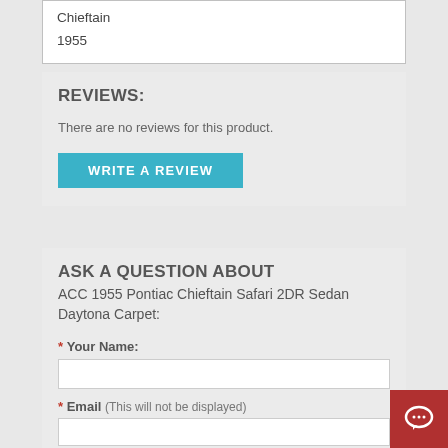Chieftain
1955
REVIEWS:
There are no reviews for this product.
WRITE A REVIEW
ASK A QUESTION ABOUT
ACC 1955 Pontiac Chieftain Safari 2DR Sedan Daytona Carpet:
* Your Name:
* Email (This will not be displayed)